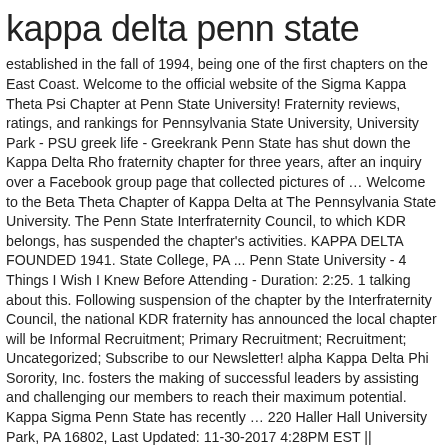kappa delta penn state
established in the fall of 1994, being one of the first chapters on the East Coast. Welcome to the official website of the Sigma Kappa Theta Psi Chapter at Penn State University! Fraternity reviews, ratings, and rankings for Pennsylvania State University, University Park - PSU greek life - Greekrank Penn State has shut down the Kappa Delta Rho fraternity chapter for three years, after an inquiry over a Facebook group page that collected pictures of … Welcome to the Beta Theta Chapter of Kappa Delta at The Pennsylvania State University. The Penn State Interfraternity Council, to which KDR belongs, has suspended the chapter's activities. KAPPA DELTA FOUNDED 1941. State College, PA ... Penn State University - 4 Things I Wish I Knew Before Attending - Duration: 2:25. 1 talking about this. Following suspension of the chapter by the Interfraternity Council, the national KDR fraternity has announced the local chapter will be Informal Recruitment; Primary Recruitment; Recruitment; Uncategorized; Subscribe to our Newsletter! alpha Kappa Delta Phi Sorority, Inc. fosters the making of successful leaders by assisting and challenging our members to reach their maximum potential. Kappa Sigma Penn State has recently … 220 Haller Hall University Park, PA 16802, Last Updated: 11-30-2017 4:28PM EST ||